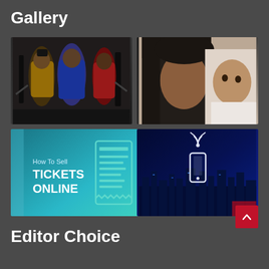Gallery
[Figure (photo): Three muscular men posing in a gym, wearing tank tops, with gym equipment in the background]
[Figure (photo): A woman wearing a black hijab and a young child with their faces close together]
[Figure (illustration): How To Sell TICKETS ONLINE banner with a teal/blue gradient background and a ticket/receipt icon on the right]
[Figure (illustration): A smartphone with WiFi signal waves over a glowing blue city skyline at night]
Editor Choice